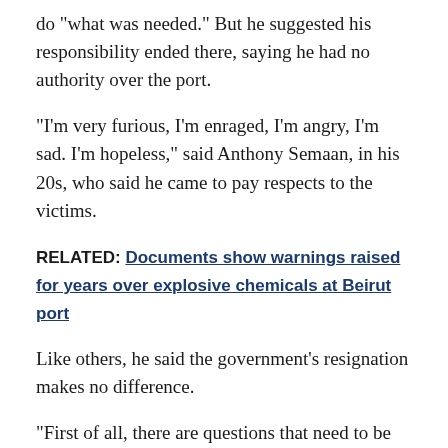do "what was needed." But he suggested his responsibility ended there, saying he had no authority over the port.
“I’m very furious, I’m enraged, I’m angry, I’m sad. I’m hopeless,” said Anthony Semaan, in his 20s, who said he came to pay respects to the victims.
RELATED: Documents show warnings raised for years over explosive chemicals at Beirut port
Like others, he said the government’s resignation makes no difference.
“First of all, there are questions that need to be answered. And second, there are other rats that need to be brought down first, and when they are brought down then maybe we can start thinking about the